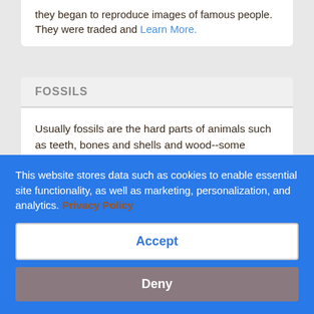they began to reproduce images of famous people. They were traded and Learn More.
FOSSILS
Usually fossils are the hard parts of animals such as teeth, bones and shells and wood--some preserved with little or no alteration. Fossils of soft parts are rare but can be found in amber, the hardened resin of ancient trees, and in shale where plants and marine animals have left behind a thin Learn More.
This website stores data such as cookies to enable essential site functionality, as well as marketing, personalization, and analytics. Privacy Policy
Accept
Deny